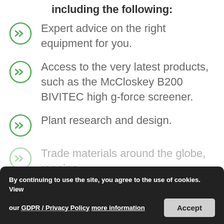including the following:
Expert advice on the right equipment for you.
Access to the very latest products, such as the McCloskey B200 BIVITEC high g-force screener.
Plant research and design.
Trade materials around the globe, ranging
By continuing to use the site, you agree to the use of cookies. View our GDPR / Privacy Policy more information
Accept